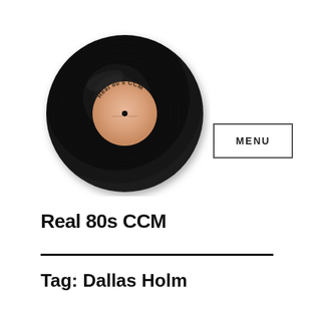[Figure (illustration): A black vinyl record with a peach/salmon colored center label reading 'Real 80s CCM', viewed from above at a slight angle.]
Real 80s CCM
MENU
Tag: Dallas Holm